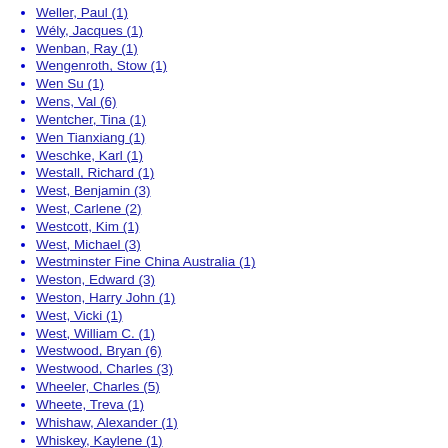Weller, Paul (1)
Wély, Jacques (1)
Wenban, Ray (1)
Wengenroth, Stow (1)
Wen Su (1)
Wens, Val (6)
Wentcher, Tina (1)
Wen Tianxiang (1)
Weschke, Karl (1)
Westall, Richard (1)
West, Benjamin (3)
West, Carlene (2)
Westcott, Kim (1)
West, Michael (3)
Westminster Fine China Australia (1)
Weston, Edward (3)
Weston, Harry John (1)
West, Vicki (1)
West, William C. (1)
Westwood, Bryan (6)
Westwood, Charles (3)
Wheeler, Charles (5)
Wheete, Treva (1)
Whishaw, Alexander (1)
Whiskey, Kaylene (1)